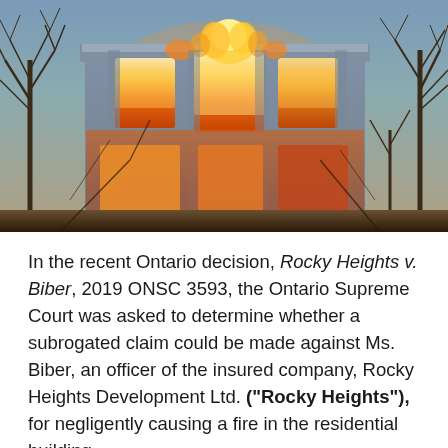[Figure (photo): Photograph of a two-story residential building engulfed in fire, with large orange and yellow flames shooting out of the upper windows and from the roof. Bare trees are visible on either side of the burning structure. The image has a high-dynamic-range (HDR) processed appearance with vivid colors.]
In the recent Ontario decision, Rocky Heights v. Biber, 2019 ONSC 3593, the Ontario Supreme Court was asked to determine whether a subrogated claim could be made against Ms. Biber, an officer of the insured company, Rocky Heights Development Ltd. ("Rocky Heights"), for negligently causing a fire in the residential building